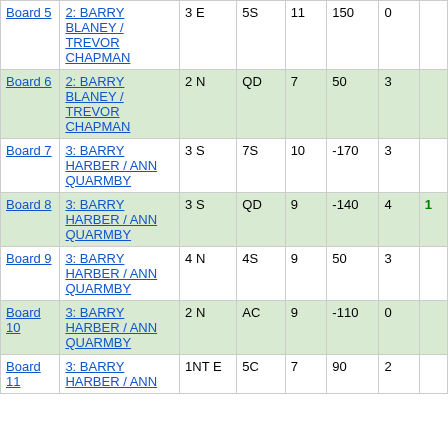| Board | Pair | Contract | Lead | Tricks | Score | MP |  |
| --- | --- | --- | --- | --- | --- | --- | --- |
| Board 5 | 2: BARRY BLANEY / TREVOR CHAPMAN | 3 E | 5S | 11 | 150 | 0 |  |
| Board 6 | 2: BARRY BLANEY / TREVOR CHAPMAN | 2 N | QD | 7 | 50 | 3 |  |
| Board 7 | 3: BARRY HARBER / ANN QUARMBY | 3 S | 7S | 10 | -170 | 3 |  |
| Board 8 | 3: BARRY HARBER / ANN QUARMBY | 3 S | QD | 9 | -140 | 4 | 1 |
| Board 9 | 3: BARRY HARBER / ANN QUARMBY | 4 N | 4S | 9 | 50 | 3 |  |
| Board 10 | 3: BARRY HARBER / ANN QUARMBY | 2 N | AC | 9 | -110 | 0 |  |
| Board 11 | 3: BARRY HARBER / ANN QUARMBY | 1NT E | 5C | 7 | 90 | 2 |  |